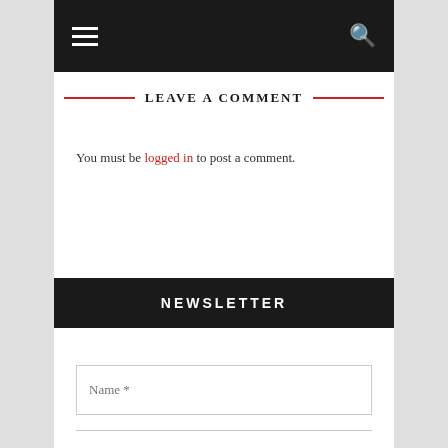[hamburger menu icon] [search icon]
LEAVE A COMMENT
You must be logged in to post a comment.
NEWSLETTER
Name *